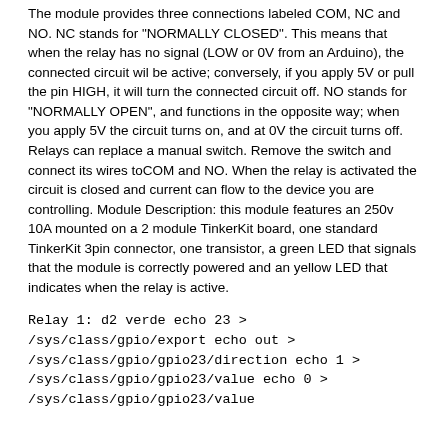The module provides three connections labeled COM, NC and NO. NC stands for "NORMALLY CLOSED". This means that when the relay has no signal (LOW or 0V from an Arduino), the connected circuit wil be active; conversely, if you apply 5V or pull the pin HIGH, it will turn the connected circuit off. NO stands for "NORMALLY OPEN", and functions in the opposite way; when you apply 5V the circuit turns on, and at 0V the circuit turns off. Relays can replace a manual switch. Remove the switch and connect its wires toCOM and NO. When the relay is activated the circuit is closed and current can flow to the device you are controlling. Module Description: this module features an 250v 10A mounted on a 2 module TinkerKit board, one standard TinkerKit 3pin connector, one transistor, a green LED that signals that the module is correctly powered and an yellow LED that indicates when the relay is active.
Relay 1: d2 verde echo 23 > /sys/class/gpio/export echo out > /sys/class/gpio/gpio23/direction echo 1 > /sys/class/gpio/gpio23/value echo 0 > /sys/class/gpio/gpio23/value